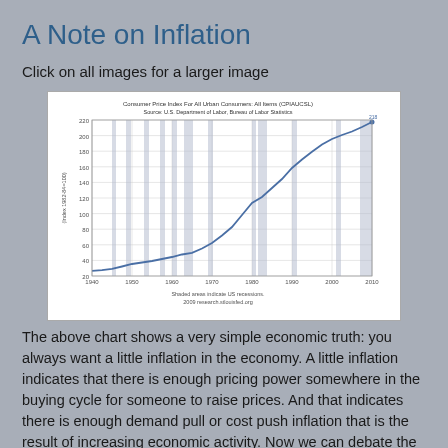A Note on Inflation
Click on all images for a larger image
[Figure (continuous-plot): Line chart showing the Consumer Price Index For All Urban Consumers: All Items (CPIAUCSL) from approximately 1940 to 2010. The y-axis shows Index (1982-84=100) ranging from about 20 to 220. The curve starts near 20 in 1940 and rises exponentially to about 220 by 2010. Shaded areas indicate US recessions. Source: U.S. Department of Labor, Bureau of Labor Statistics. 2009 research.stlouisfed.org]
The above chart shows a very simple economic truth: you always want a little inflation in the economy. A little inflation indicates that there is enough pricing power somewhere in the buying cycle for someone to raise prices. And that indicates there is enough demand pull or cost push inflation that is the result of increasing economic activity. Now we can debate the proper level of inflation for the economy, but the